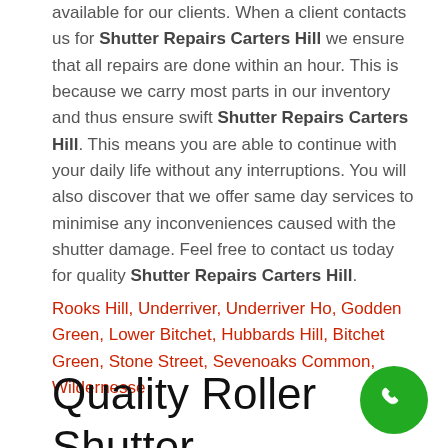available for our clients. When a client contacts us for Shutter Repairs Carters Hill we ensure that all repairs are done within an hour. This is because we carry most parts in our inventory and thus ensure swift Shutter Repairs Carters Hill. This means you are able to continue with your daily life without any interruptions. You will also discover that we offer same day services to minimise any inconveniences caused with the shutter damage. Feel free to contact us today for quality Shutter Repairs Carters Hill.
Rooks Hill, Underriver, Underriver Ho, Godden Green, Lower Bitchet, Hubbards Hill, Bitchet Green, Stone Street, Sevenoaks Common, Wildernesse
Quality Roller Shutter Repairs Carters Hill